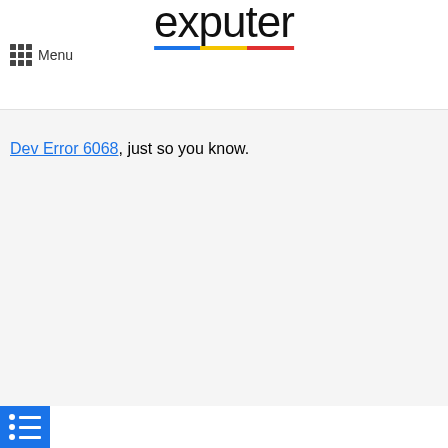Menu | exputer
Dev Error 6068, just so you know.